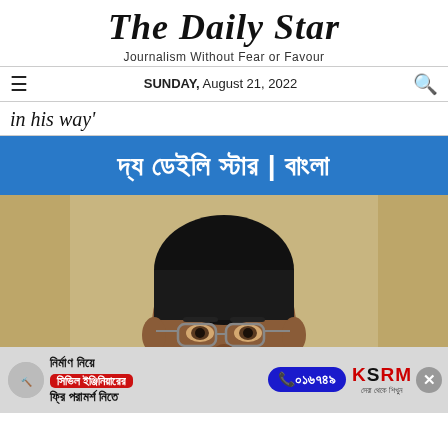The Daily Star
Journalism Without Fear or Favour
SUNDAY, August 21, 2022
in his way'
[Figure (illustration): The Daily Star Bangla banner in Bengali script on blue background: দ্য ডেইলি স্টার | বাংলা]
[Figure (photo): Close-up photo of a middle-aged man wearing glasses, in a black jacket, seated in an ornate chair with gold/cream background]
[Figure (advertisement): Advertisement for civil engineering consultation: নির্মাণ নিয়ে সিভিল ইঞ্জিনিয়ারের ফ্রি পরামর্শ নিতে, phone ০১৬৭৪৯, KSRM brand]